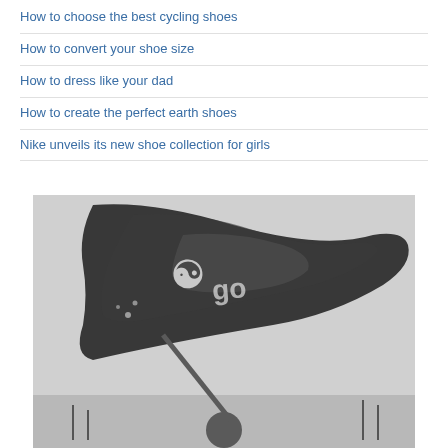How to choose the best cycling shoes
How to convert your shoe size
How to dress like your dad
How to create the perfect earth shoes
Nike unveils its new shoe collection for girls
[Figure (photo): Person waving a large dark/black flag with white graphic design text outdoors against a light grey sky, with bare trees and structures visible in background]